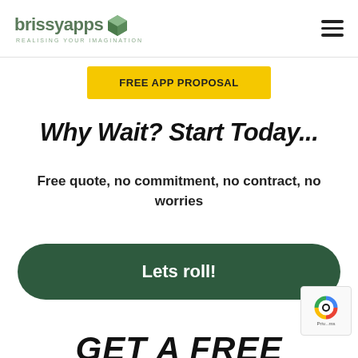[Figure (logo): brissyapps logo with cube icon and tagline REALISING YOUR IMAGINATION]
[Figure (other): Hamburger menu icon (three horizontal lines)]
FREE APP PROPOSAL
Why Wait? Start Today...
Free quote, no commitment, no contract, no worries
Lets roll!
GET A FREE
[Figure (other): reCAPTCHA badge with Google logo and Priv... ms text]